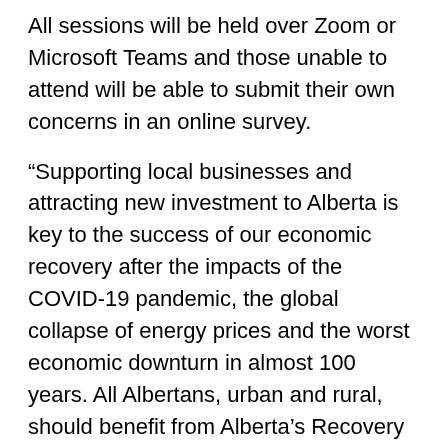All sessions will be held over Zoom or Microsoft Teams and those unable to attend will be able to submit their own concerns in an online survey.
“Supporting local businesses and attracting new investment to Alberta is key to the success of our economic recovery after the impacts of the COVID-19 pandemic, the global collapse of energy prices and the worst economic downturn in almost 100 years. All Albertans, urban and rural, should benefit from Alberta’s Recovery Plan,” said Horner.
According to a 2018 study by the Alberta Association of Municipal Districts and Counties, rural Albertans contributed approximately $89.6